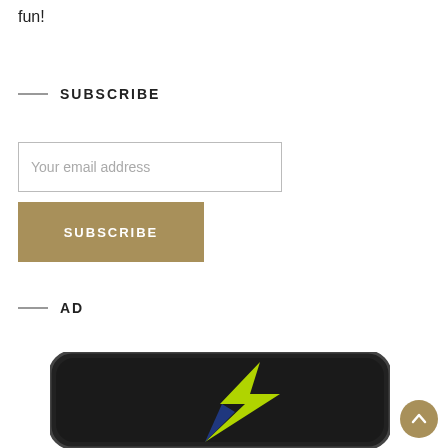fun!
SUBSCRIBE
Your email address
SUBSCRIBE
AD
[Figure (other): Partial view of a dark-colored device (possibly a smartwatch or phone) with a yellow-green lightning bolt or arrow graphic on a dark rounded rectangle screen]